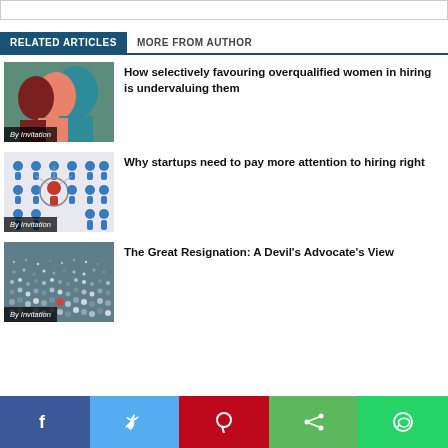RELATED ARTICLES   MORE FROM AUTHOR
[Figure (photo): Colorful silhouette illustration of multiple human heads in profile, teal and red tones, with 'By Invitation' label overlay]
How selectively favouring overqualified women in hiring is undervaluing them
[Figure (photo): Network/recruitment concept illustration with blue figure icons and a central highlighted person, with 'By Invitation' label overlay]
Why startups need to pay more attention to hiring right
[Figure (photo): Large crowd of people viewed from above, with 'By Invitation' label overlay]
The Great Resignation: A Devil's Advocate's View
Facebook  Twitter  Pinterest  Share  WhatsApp